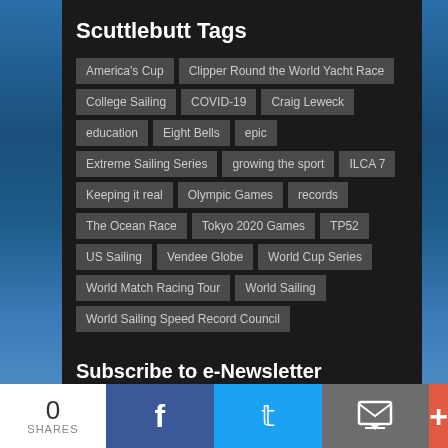Scuttlebutt Tags
America's Cup
Clipper Round the World Yacht Race
College Sailing
COVID-19
Craig Leweck
education
Eight Bells
epic
Extreme Sailing Series
growing the sport
ILCA 7
Keeping it real
Olympic Games
records
The Ocean Race
Tokyo 2020 Games
TP52
US Sailing
Vendee Globe
World Cup Series
World Match Racing Tour
World Sailing
World Sailing Speed Record Council
Subscribe to e-Newsletter
What is the e-Newsletter?
Subscribe Today